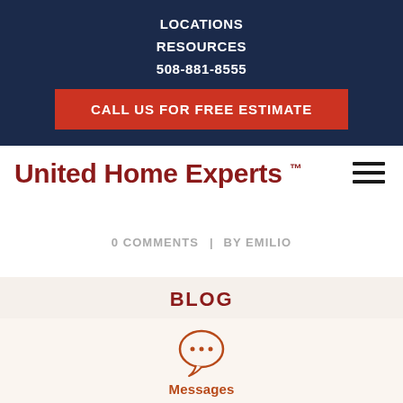LOCATIONS
RESOURCES
508-881-8555
CALL US FOR FREE ESTIMATE
United Home Experts™
0 COMMENTS   BY EMILIO
BLOG
[Figure (illustration): Speech bubble icon with three dots inside, in orange/brown color. Below it the text 'Messages'.]